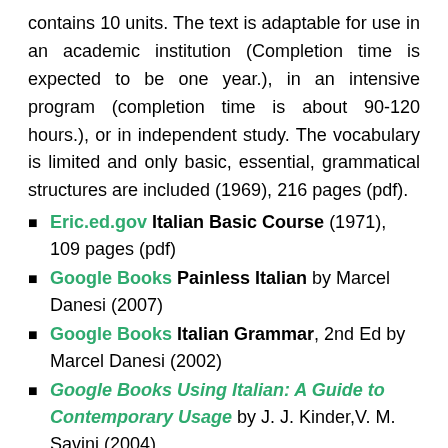contains 10 units. The text is adaptable for use in an academic institution (Completion time is expected to be one year.), in an intensive program (completion time is about 90-120 hours.), or in independent study. The vocabulary is limited and only basic, essential, grammatical structures are included (1969), 216 pages (pdf).
Eric.ed.gov Italian Basic Course (1971), 109 pages (pdf)
Google Books Painless Italian by Marcel Danesi (2007)
Google Books Italian Grammar, 2nd Ed by Marcel Danesi (2002)
Google Books Using Italian: A Guide to Contemporary Usage by J. J. Kinder,V. M. Savini (2004)
Google Books Italian Grammar Drills by Paola